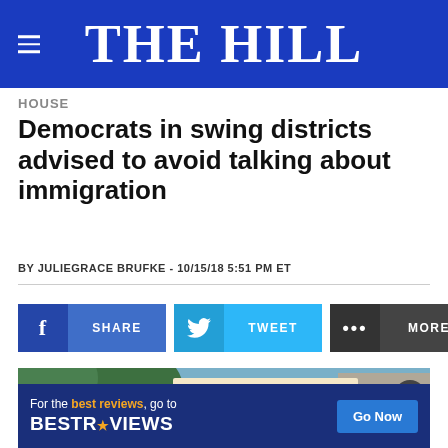THE HILL
HOUSE
Democrats in swing districts advised to avoid talking about immigration
BY JULIEGRACE BRUFKE - 10/15/18 5:51 PM ET
[Figure (other): Social share buttons: Facebook SHARE, Twitter TWEET, MORE]
[Figure (photo): Outdoor protest photo with signs reading FREE, LOVE HAS, INTERNMENT CAMPS]
[Figure (other): Advertisement banner: For the best reviews, go to BESTREVIEWS - Go Now button]